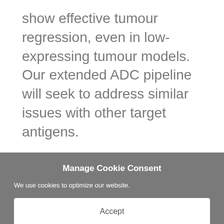show effective tumour regression, even in low- expressing tumour models. Our extended ADC pipeline will seek to address similar issues with other target antigens.
Manage Cookie Consent
We use cookies to optimize our website.
Accept
Deny
Preferences